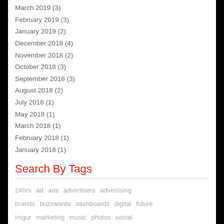March 2019 (3)
February 2019 (3)
January 2019 (2)
December 2018 (4)
November 2018 (2)
October 2018 (3)
September 2018 (3)
August 2018 (2)
July 2018 (1)
May 2018 (1)
March 2018 (1)
February 2018 (1)
January 2018 (1)
Search By Tags
24hrs  ad  ads  advertisers  advertising  brands  buzzwords  dashboards  digital  future  imgur  marketing  music  photos  social